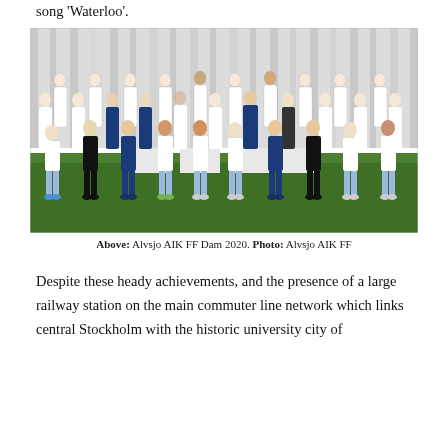song 'Waterloo'.
[Figure (photo): Group team photo of Alvsjo AIK FF Dam 2020, showing players and staff in three rows against a white curtain backdrop on a green grass floor. Players wearing white and blue kits, staff in dark blue tracksuits.]
Above: Alvsjo AIK FF Dam 2020. Photo: Alvsjo AIK FF
Despite these heady achievements, and the presence of a large railway station on the main commuter line network which links central Stockholm with the historic university city of